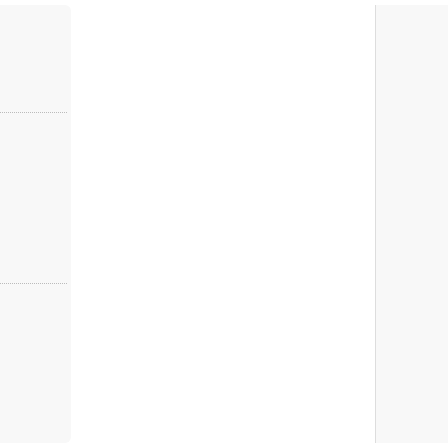» Cryptogra...
Cryptogram free... Then it crypts it,... puzzles by selec...
21.0 KB |Freeware 2003, Mac OS X, M
» details
» Color eide...
This game draw... Statistics module... complexity allow...
10.0 KB |Freeware 2003, Mac OS X, M
» details
» ArtMemor...
This is a matchin... clicked to reveal... try to find the ma...
2.5 MB |Shareware
» details